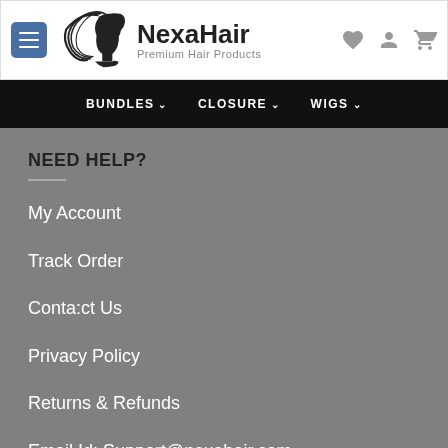[Figure (logo): NexaHair logo with woman silhouette and flowing hair, text 'NexaHair Premium Hair Products']
BUNDLES  CLOSURE  WIGS
NEED HELP?
My Account
Track Order
Conta:ct Us
Privacy Policy
Returns & Refunds
Email Id: Support@nexahair.com